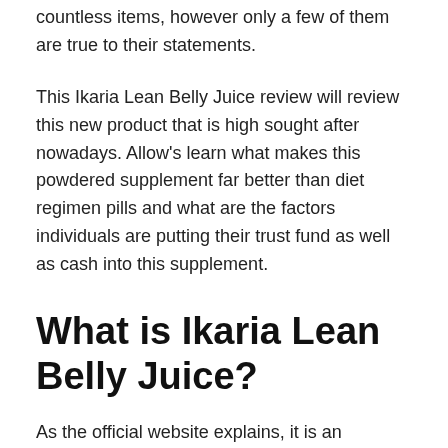countless items, however only a few of them are true to their statements.
This Ikaria Lean Belly Juice review will review this new product that is high sought after nowadays. Allow's learn what makes this powdered supplement far better than diet regimen pills and what are the factors individuals are putting their trust fund as well as cash into this supplement.
What is Ikaria Lean Belly Juice?
As the official website explains, it is an innovative superfood formula made from premium all-natural ingredients. These ingredients are scientifically